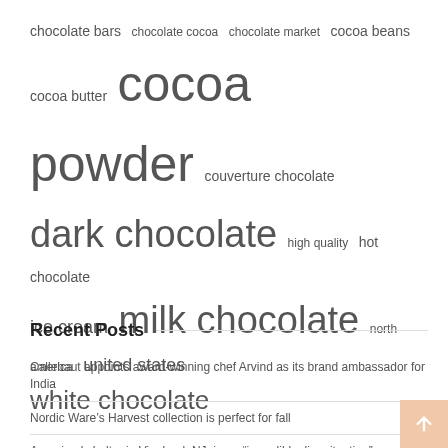[Figure (infographic): Tag/word cloud with chocolate-related terms in varying font sizes: chocolate bars, chocolate cocoa, chocolate market, cocoa beans, cocoa butter, cocoa powder, couverture chocolate, dark chocolate, high quality, hot chocolate, ice cream, milk chocolate, north america, united states, white chocolate]
Recent Posts
Callebaut appoints award-winning chef Arvind as its brand ambassador for India
Nordic Ware’s Harvest collection is perfect for fall
An animal shelter in Vineland, NJ, in an “incredibly dire situation”